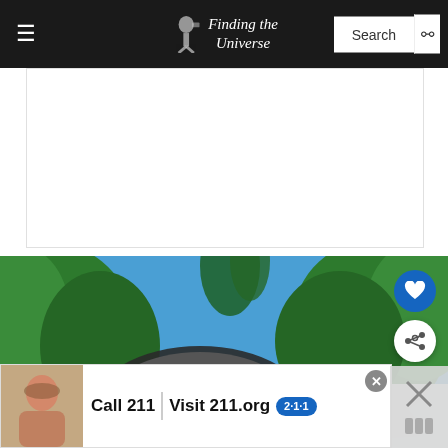Finding the Universe — Search
[Figure (screenshot): White/blank advertisement placeholder box]
[Figure (photo): Outdoor sculpture resembling a large metallic lens or eye shape, surrounded by lush green trees and hedges under a vivid blue sky. Heart (favorite) and share action buttons visible on the right. A 'What's Next' preview card shows 'The White Temple of...' with a thumbnail.]
[Figure (screenshot): Bottom banner advertisement: 'Call 211 | Visit 211.org' with 2-1-1 badge logo, child photo on left, close button top-right. Right side shows a dismiss/close overlay area.]